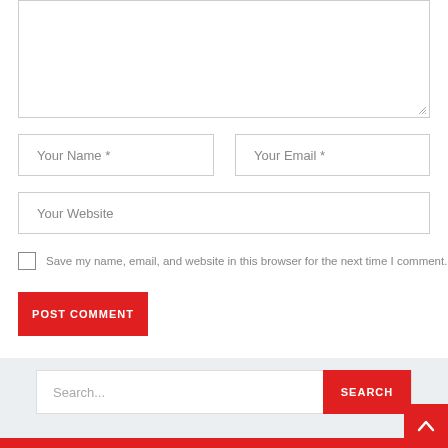[Figure (screenshot): Comment form textarea (empty, resizable)]
Your Name *
Your Email *
Your Website
Save my name, email, and website in this browser for the next time I comment.
POST COMMENT
Search...
SEARCH
[Figure (other): Back to top arrow button (red)]